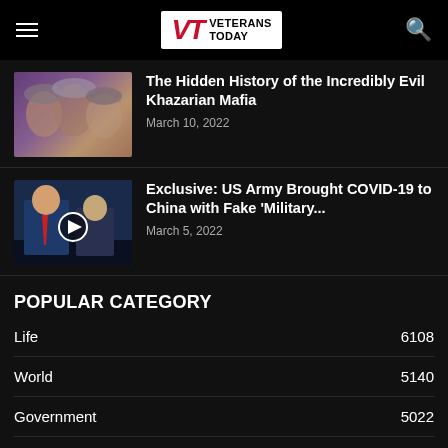Veterans Today
The Hidden History of the Incredibly Evil Khazarian Mafia
March 10, 2022
Exclusive: US Army Brought COVID-19 to China with Fake 'Military...
March 5, 2022
POPULAR CATEGORY
Life 6108
World 5140
Government 5022
Investigations 3838